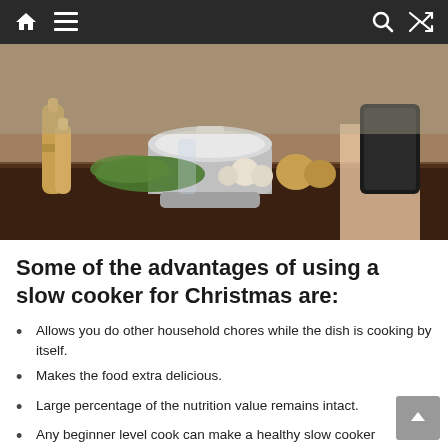Navigation bar with home, menu, search and shuffle icons
[Figure (photo): Person using a tablet next to a slow cooker on a kitchen counter with vegetables, garlic, onions, herbs, and wooden pepper mills]
Some of the advantages of using a slow cooker for Christmas are:
Allows you do other household chores while the dish is cooking by itself.
Makes the food extra delicious.
Large percentage of the nutrition value remains intact.
Any beginner level cook can make a healthy slow cooker recipe and it will still come out delicious.